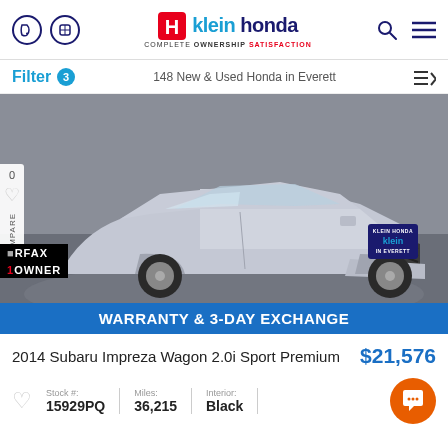Klein Honda — COMPLETE OWNERSHIP SATISFACTION
Filter 3 — 148 New & Used Honda in Everett
[Figure (photo): Silver 2014 Subaru Impreza Wagon 2.0i Sport Premium photographed from front-left angle in dealership showroom. Carfax 1 Owner badge visible. Klein dealer badge on front bumper. Blue warranty bar at bottom reads WARRANTY & 3-DAY EXCHANGE.]
2014 Subaru Impreza Wagon 2.0i Sport Premium
$21,576
| Stock # | Miles: | Interior: |
| --- | --- | --- |
| 15929PQ | 36,215 | Black |